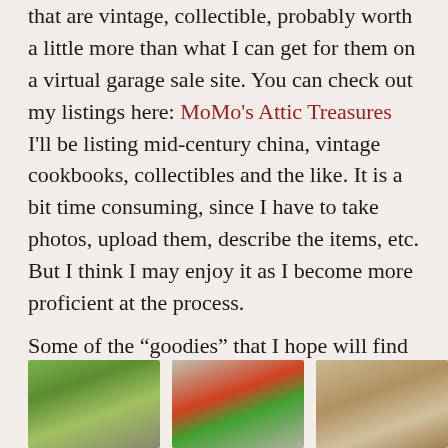that are vintage, collectible, probably worth a little more than what I can get for them on a virtual garage sale site. You can check out my listings here: MoMo's Attic Treasures  I'll be listing mid-century china, vintage cookbooks, collectibles and the like. It is a bit time consuming, since I have to take photos, upload them, describe the items, etc. But I think I may enjoy it as I become more proficient at the process.
Some of the “goodies” that I hope will find new homes:
[Figure (photo): Photo of a green ceramic item (appears to be a vintage ceramic animal or figurine)]
[Figure (photo): Photo of red and green ceramic bowls or dishes]
[Figure (photo): Photo of a tan/beige ceramic mug or cup]